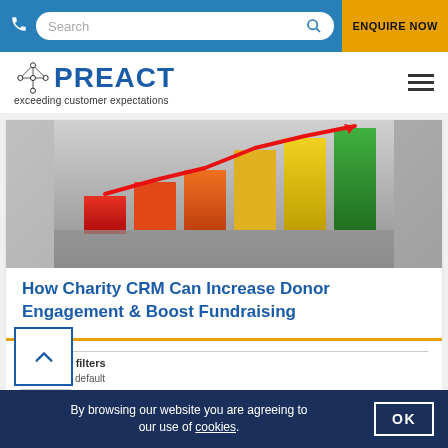Search | ENQUIRE NOW
[Figure (logo): PREACT logo with tagline 'exceeding customer expectations']
[Figure (photo): Colorful 3D bar chart with rising red arrow line, bars in red, orange, yellow, and green gradient]
How Charity CRM Can Increase Donor Engagement & Boost Fundraising
Advanced filters
Reset to default
AND
By browsing our website you are agreeing to our use of cookies.